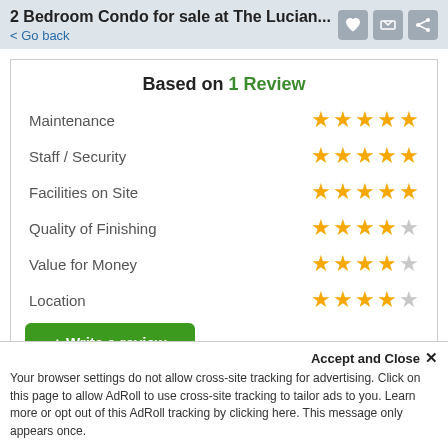2 Bedroom Condo for sale at The Lucian... < Go back
Based on 1 Review
Maintenance — 5 stars
Staff / Security — 5 stars
Facilities on Site — 5 stars
Quality of Finishing — 4 stars
Value for Money — 4 stars
Location — 4 stars
+ Write a review
Accept and Close ✕
Your browser settings do not allow cross-site tracking for advertising. Click on this page to allow AdRoll to use cross-site tracking to tailor ads to you. Learn more or opt out of this AdRoll tracking by clicking here. This message only appears once.